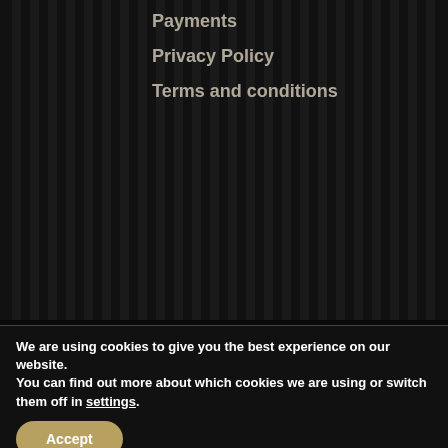Payments
Privacy Policy
Terms and conditions
Copyright 2018. All Rights Reserved
We are using cookies to give you the best experience on our website.
You can find out more about which cookies we are using or switch them off in settings.
Accept